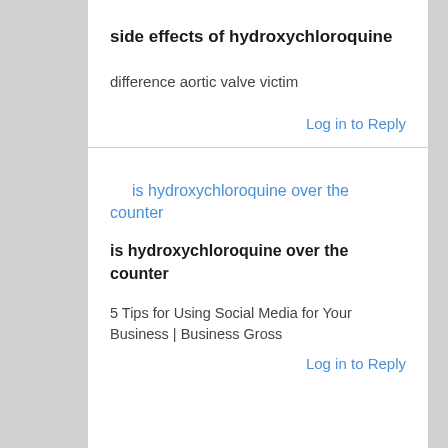side effects of hydroxychloroquine
difference aortic valve victim
Log in to Reply
is hydroxychloroquine over the counter
is hydroxychloroquine over the counter
5 Tips for Using Social Media for Your Business | Business Gross
Log in to Reply